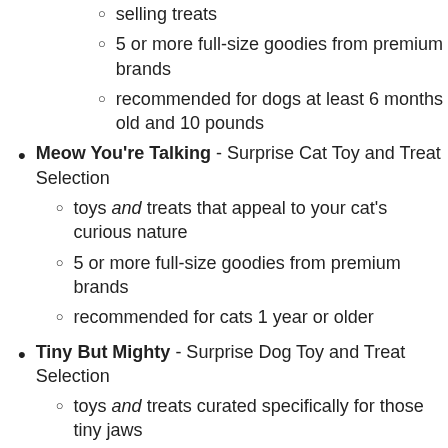selling treats
5 or more full-size goodies from premium brands
recommended for dogs at least 6 months old and 10 pounds
Meow You're Talking - Surprise Cat Toy and Treat Selection
toys and treats that appeal to your cat's curious nature
5 or more full-size goodies from premium brands
recommended for cats 1 year or older
Tiny But Mighty - Surprise Dog Toy and Treat Selection
toys and treats curated specifically for those tiny jaws
5 or more full-size goodies from premium brands